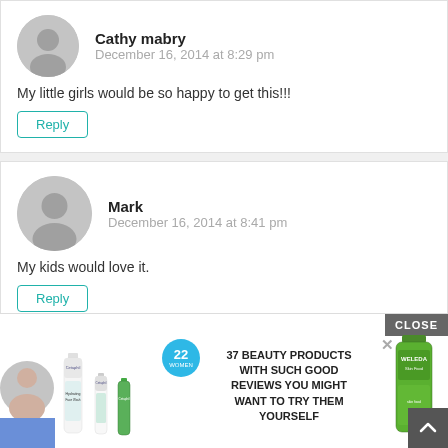Cathy mabry
December 16, 2014 at 8:29 pm
My little girls would be so happy to get this!!!
Reply
Mark
December 16, 2014 at 8:41 pm
My kids would love it.
Reply
[Figure (screenshot): Advertisement banner: 37 BEAUTY PRODUCTS WITH SUCH GOOD REVIEWS YOU MIGHT WANT TO TRY THEM YOURSELF, with product images (Cetaphil, Weleda) and a close button]
CLOSE
37 BEAUTY PRODUCTS WITH SUCH GOOD REVIEWS YOU MIGHT WANT TO TRY THEM YOURSELF